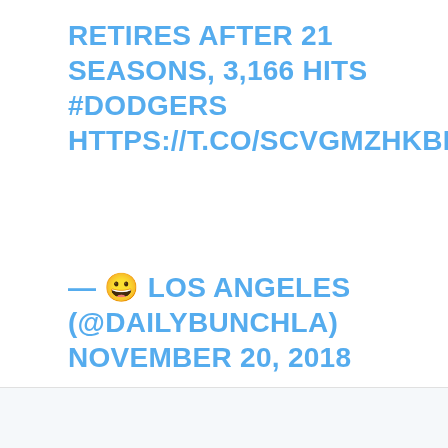RETIRES AFTER 21 SEASONS, 3,166 HITS #DODGERS HTTPS://T.CO/SCVGMZHKBP
— 😀 LOS ANGELES (@DAILYBUNCHLA) NOVEMBER 20, 2018